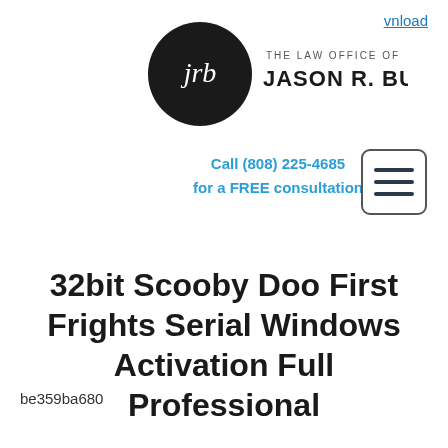[Figure (logo): The Law Office of Jason R. Burks logo: black circle with 'jrb' initials in white, beside text 'THE LAW OFFICE OF JASON R. BURKS']
vnload
Call (808) 225-4685 for a FREE consultation
[Figure (other): Hamburger menu icon button with three horizontal lines inside a rounded rectangle border]
32bit Scooby Doo First Frights Serial Windows Activation Full Professional
be359ba680